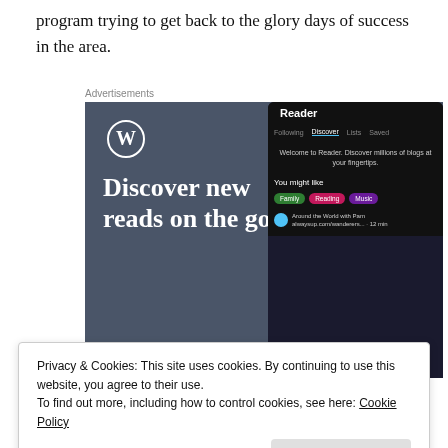program trying to get back to the glory days of success in the area.
[Figure (screenshot): WordPress app advertisement showing 'Discover new reads on the go.' with WordPress logo and a phone mockup showing the Reader interface]
Privacy & Cookies: This site uses cookies. By continuing to use this website, you agree to their use.
To find out more, including how to control cookies, see here: Cookie Policy
Close and accept
Clutch N' Grab Hockey Weekend